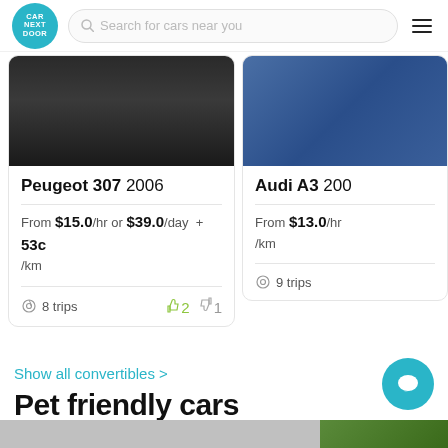CAR NEXT DOOR — Search for cars near you
[Figure (screenshot): Car listing card for Peugeot 307 2006 showing dark garage floor image, price from $15.0/hr or $39.0/day + 53c/km, 8 trips, 2 thumbs up, 1 thumbs down]
[Figure (screenshot): Car listing card for Audi A3 2006 (partially visible) showing blue car image, price from $13.0/hr, 9 trips]
Show all convertibles >
Pet friendly cars